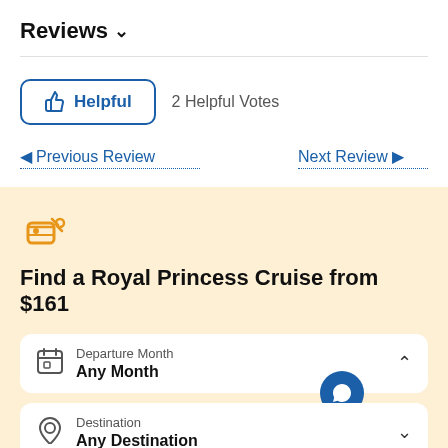Reviews ▾
👍 Helpful   2 Helpful Votes
◄ Previous Review
Next Review ►
Find a Royal Princess Cruise from $161
Departure Month
Any Month
Destination
Any Destination